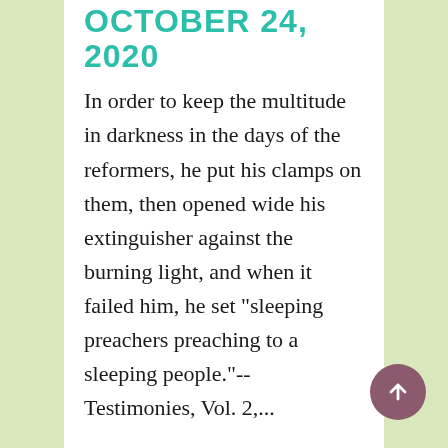OCTOBER 24, 2020
In order to keep the multitude in darkness in the days of the reformers, he put his clamps on them, then opened wide his extinguisher against the burning light, and when it failed him, he set "sleeping preachers preaching to a sleeping people."-- Testimonies, Vol. 2,...
READ MORE